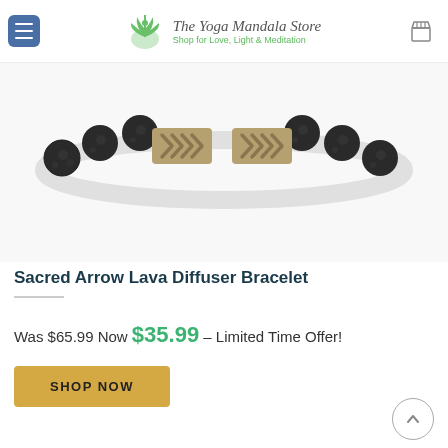The Yoga Mandala Store – Shop for Love, Light & Meditation
[Figure (photo): Product photo of Sacred Arrow Lava Diffuser Bracelet with black lava stone beads and metallic arrow chevron centerpiece on white background]
Sacred Arrow Lava Diffuser Bracelet
Was $65.99 Now $35.99 – Limited Time Offer!
SHOP NOW